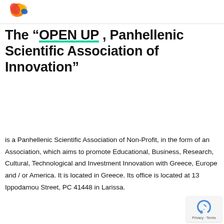[Logo: OPEN UP organization logo with orange/red/yellow flame and blue element]
The “OPEN UP, Panhellenic Scientific Association of Innovation”
is a Panhellenic Scientific Association of Non-Profit, in the form of an Association, which aims to promote Educational, Business, Research, Cultural, Technological and Investment Innovation with Greece, Europe and / or America. It is located in Greece. Its office is located at 13 Ippodamou Street, PC 41448 in Larissa.